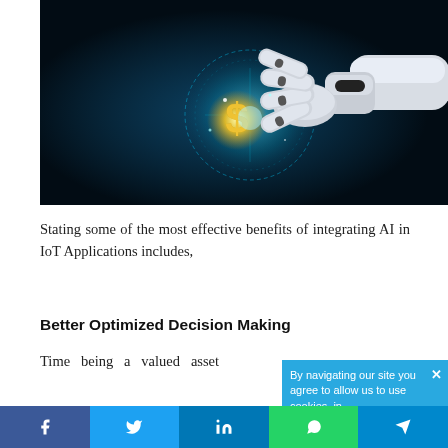[Figure (photo): A robotic arm/hand with white mechanical fingers reaching toward a glowing golden dollar sign symbol, with blue digital circuit/technology light effects against a dark teal background.]
Stating some of the most effective benefits of integrating AI in IoT Applications includes,
Better Optimized Decision Making
Time being a valued asset
By navigating our site you agree to allow us to use cookies, in